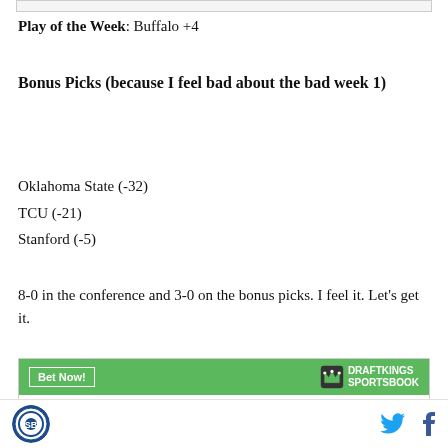Play of the Week: Buffalo +4
Bonus Picks (because I feel bad about the bad week 1)
Oklahoma State (-32)
TCU (-21)
Stanford (-5)
8-0 in the conference and 3-0 on the bonus picks. I feel it. Let's get it.
[Figure (other): DraftKings Sportsbook widget with 'Bet Now!' button and 'To win National Championship' text]
Site logo | Twitter icon | Facebook icon